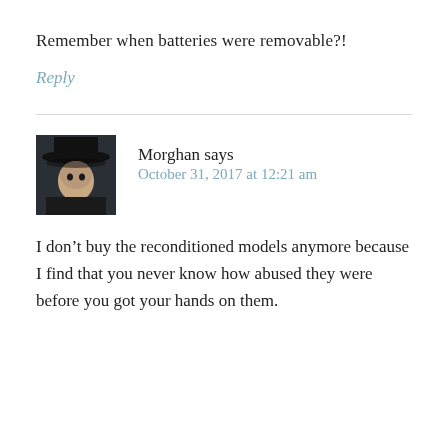Remember when batteries were removable?!
Reply
Morghan says
October 31, 2017 at 12:21 am
I don’t buy the reconditioned models anymore because I find that you never know how abused they were before you got your hands on them.